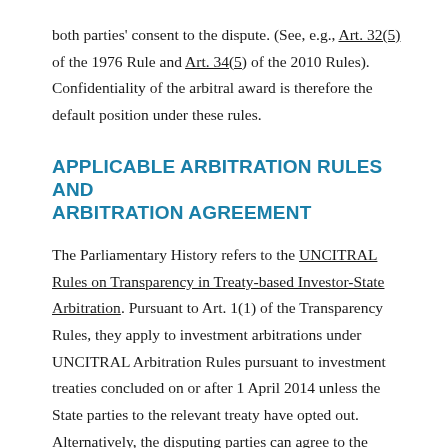both parties' consent to the dispute. (See, e.g., Art. 32(5) of the 1976 Rule and Art. 34(5) of the 2010 Rules). Confidentiality of the arbitral award is therefore the default position under these rules.
APPLICABLE ARBITRATION RULES AND ARBITRATION AGREEMENT
The Parliamentary History refers to the UNCITRAL Rules on Transparency in Treaty-based Investor-State Arbitration. Pursuant to Art. 1(1) of the Transparency Rules, they apply to investment arbitrations under UNCITRAL Arbitration Rules pursuant to investment treaties concluded on or after 1 April 2014 unless the State parties to the relevant treaty have opted out. Alternatively, the disputing parties can agree to the application of the Transparency Rules to their dispute. On 18